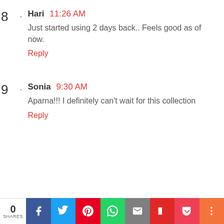8 . Hari 11:26 AM
Just started using 2 days back.. Feels good as of now.
Reply
9 . Sonia 9:30 AM
Aparna!!! I definitely can't wait for this collection
Reply
[Figure (infographic): Social share bar at bottom: 0 SHARES count, Facebook, Twitter, Pinterest, WhatsApp, Email, Flipboard, Pocket, More buttons]